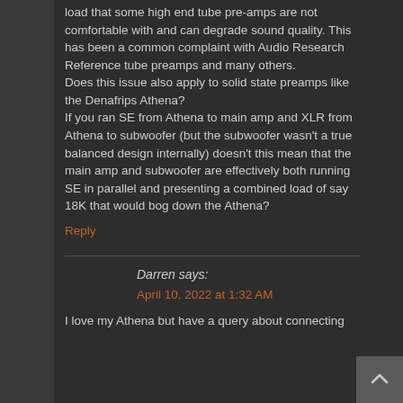load that some high end tube pre-amps are not comfortable with and can degrade sound quality. This has been a common complaint with Audio Research Reference tube preamps and many others.
Does this issue also apply to solid state preamps like the Denafrips Athena?
If you ran SE from Athena to main amp and XLR from Athena to subwoofer (but the subwoofer wasn't a true balanced design internally) doesn't this mean that the main amp and subwoofer are effectively both running SE in parallel and presenting a combined load of say 18K that would bog down the Athena?
Reply
Darren says:
April 10, 2022 at 1:32 AM
I love my Athena but have a query about connecting